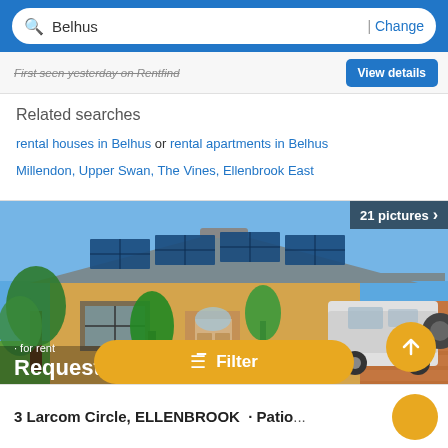Belhus | Change
First seen yesterday on Rentfind
Related searches
rental houses in Belhus or rental apartments in Belhus
Millendon, Upper Swan, The Vines, Ellenbrook East
[Figure (photo): Exterior photo of a single-storey brick house with solar panels on the roof, green lawn, palm trees, and a 4WD in the carport. Shows '21 pictures' badge.]
· for rent
Request details
Filter
3 Larcom Circle, ELLENBROOK · Patio...